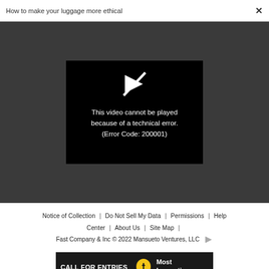How to make your luggage more ethical
[Figure (screenshot): Video player showing error message: This video cannot be played because of a technical error. (Error Code: 200001)]
Notice of Collection | Do Not Sell My Data | Permissions | Help Center | About Us | Site Map | Fast Company & Inc © 2022 Mansueto Ventures, LLC
[Figure (infographic): Advertisement banner: CALL FOR ENTRIES, DEADLINE: SEPTEMBER 23, Most Innovative Companies]